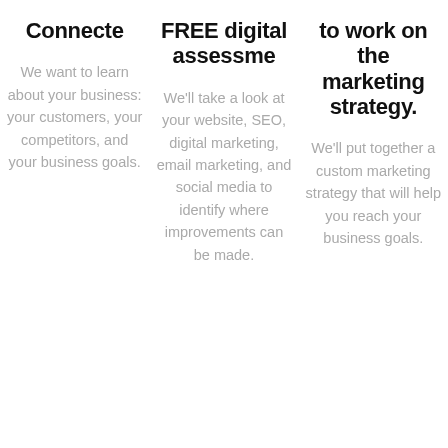Connecte
We want to learn about your business: your customers, your competitors, and your business goals.
FREE digital assessme
We'll take a look at your website, SEO, digital marketing, email marketing, and social media to identify where improvements can be made.
to work on the marketing strategy.
We'll put together a custom marketing strategy that will help you reach your business goals.